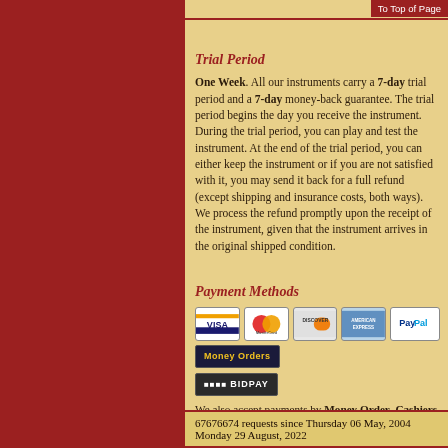To Top of Page
Trial Period
One Week. All our instruments carry a 7-day trial period and a 7-day money-back guarantee. The trial period begins the day you receive the instrument. During the trial period, you can play and test the instrument. At the end of the trial period, you can either keep the instrument or if you are not satisfied with it, you may send it back for a full refund (except shipping and insurance costs, both ways). We process the refund promptly upon the receipt of the instrument, given that the instrument arrives in the original shipped condition.
Payment Methods
[Figure (logo): Payment method logos: Visa, Mastercard, Discover, American Express, PayPal, Money Orders, BidPay]
We also accept payments by Money Order, Cashiers Check, and Bank Transfer.
67676674 requests since Thursday 06 May, 2004 Monday 29 August, 2022